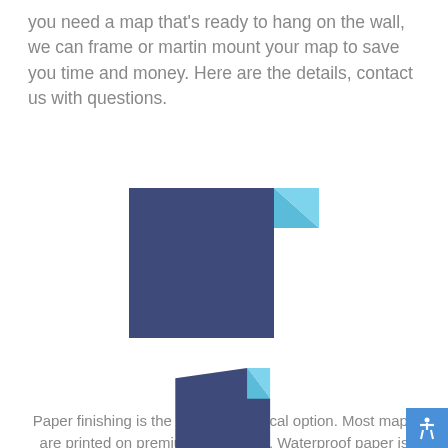you need a map that's ready to hang on the wall, we can frame or martin mount your map to save you time and money. Here are the details, contact us with questions.
[Figure (illustration): Dark navy blue document/paper icon with a light blue folded corner at top right]
PAPER
Paper finishing is the most economical option. Most maps are printed on premium 36lb paper. Waterproof paper is also available for functional maps that may be used outdoors.
[Figure (illustration): Dark navy blue rolled paper/scroll icon with a light blue corner curl at bottom right]